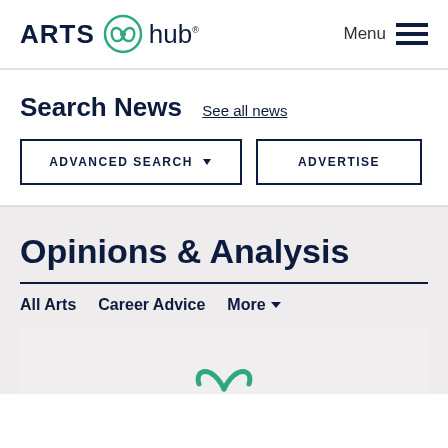ARTS hub® Menu
Search News
See all news
ADVANCED SEARCH ▼
ADVERTISE
Opinions & Analysis
All Arts   Career Advice   More ∨
[Figure (logo): ArtsHub logo partial visible at bottom of card area]